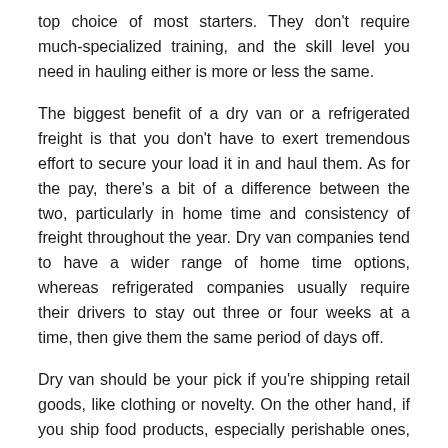top choice of most starters. They don't require much-specialized training, and the skill level you need in hauling either is more or less the same.
The biggest benefit of a dry van or a refrigerated freight is that you don't have to exert tremendous effort to secure your load it in and haul them. As for the pay, there's a bit of a difference between the two, particularly in home time and consistency of freight throughout the year. Dry van companies tend to have a wider range of home time options, whereas refrigerated companies usually require their drivers to stay out three or four weeks at a time, then give them the same period of days off.
Dry van should be your pick if you're shipping retail goods, like clothing or novelty. On the other hand, if you ship food products, especially perishable ones, refrigerated freight is for you.
Flatbed